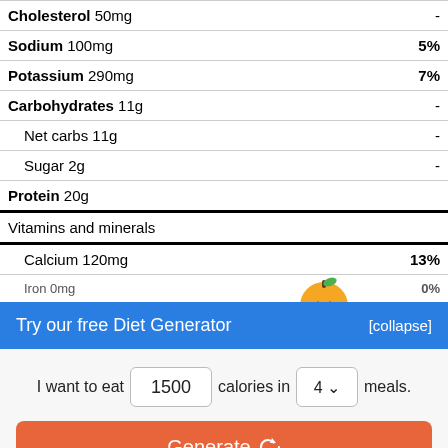| Nutrient | Value | DV% |
| --- | --- | --- |
| Cholesterol 50mg | - |
| Sodium 100mg | 5% |
| Potassium 290mg | 7% |
| Carbohydrates 11g | - |
| Net carbs 11g | - |
| Sugar 2g | - |
| Protein 20g |  |
| Vitamins and minerals |  |
| Calcium 120mg | 13% |
| Iron 0mg | 0% |
Try our free Diet Generator
[collapse]
I want to eat 1500 calories in 4 meals.
Generate